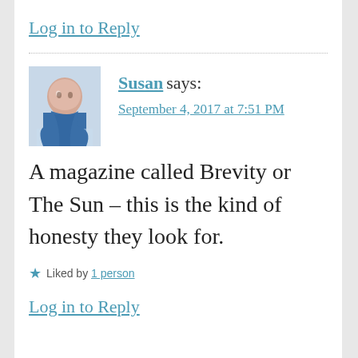Log in to Reply
[Figure (photo): Avatar photo of Susan, a woman in a blue top with hand on chin]
Susan says:
September 4, 2017 at 7:51 PM
A magazine called Brevity or The Sun – this is the kind of honesty they look for.
Liked by 1 person
Log in to Reply